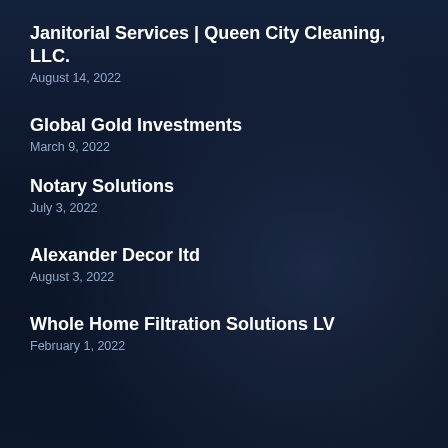Janitorial Services | Queen City Cleaning, LLC.
August 14, 2022
Global Gold Investments
March 9, 2022
Notary Solutions
July 3, 2022
Alexander Decor ltd
August 3, 2022
Whole Home Filtration Solutions LV
February 1, 2022